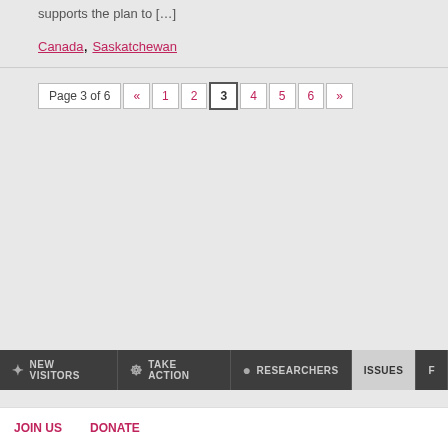supports the plan to […]
Canada, Saskatchewan
Page 3 of 6  «  1  2  3  4  5  6  »
NEW VISITORS   TAKE ACTION   RESEARCHERS   Issues   F
JOIN US   DONATE